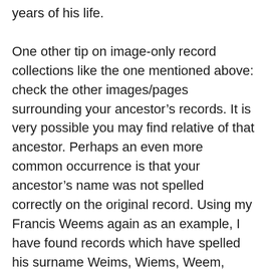years of his life.
One other tip on image-only record collections like the one mentioned above: check the other images/pages surrounding your ancestor’s records. It is very possible you may find relative of that ancestor. Perhaps an even more common occurrence is that your ancestor’s name was not spelled correctly on the original record. Using my Francis Weems again as an example, I have found records which have spelled his surname Weims, Wiems, Weem, Weams, and more. Don’t forget to look for common misspellings in the record collections.
Let’s move on to FamilySearch.org. I actually like